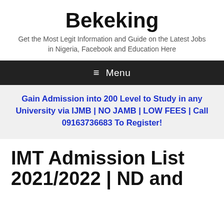Bekeking
Get the Most Legit Information and Guide on the Latest Jobs in Nigeria, Facebook and Education Here
≡ Menu
Gain Admission into 200 Level to Study in any University via IJMB | NO JAMB | LOW FEES | Call 09163736683 To Register!
IMT Admission List 2021/2022 | ND and